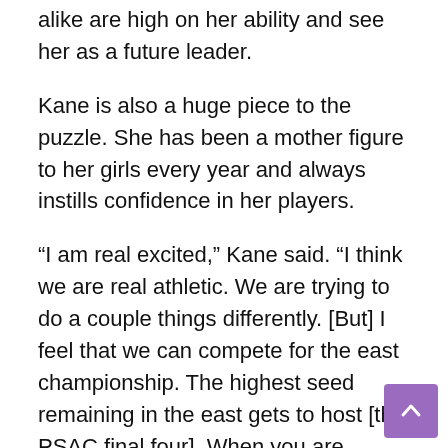alike are high on her ability and see her as a future leader.
Kane is also a huge piece to the puzzle. She has been a mother figure to her girls every year and always instills confidence in her players.
“I am real excited,” Kane said. “I think we are real athletic. We are trying to do a couple things differently. [But] I feel that we can compete for the east championship. The highest seed remaining in the east gets to host [the PSAC final four]. When you are hosting, anything can happen.”
With Thanksgiving approaching, the Lady Rams are ready to feast. But they’ll wait for the turkey and stuffing and begin with their